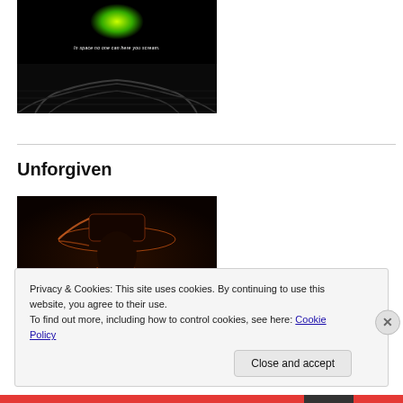[Figure (photo): Dark movie still with green glowing alien egg on top and a grid/ribs structure at the bottom. White subtitle text reads: 'In space no one can here you scream.']
Unforgiven
[Figure (photo): Dark moody photo of a person wearing a wide-brim cowboy hat, lit from behind with warm orange/red rim light, silhouette facing left.]
Privacy & Cookies: This site uses cookies. By continuing to use this website, you agree to their use.
To find out more, including how to control cookies, see here: Cookie Policy
Close and accept